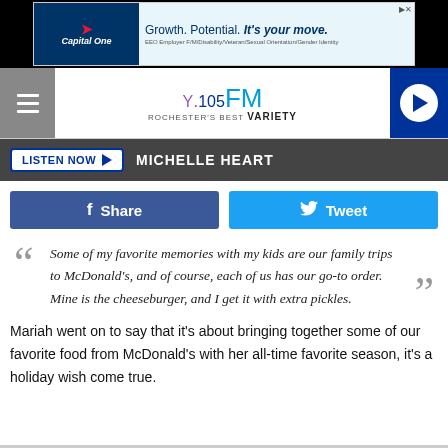[Figure (screenshot): Capital One advertisement banner: 'Growth. Potential. It's your move.' with EEO employer text]
[Figure (logo): Y.105FM Rochester's Best Variety radio station logo with hamburger menu and play button]
LISTEN NOW  MICHELLE HEART
Share  Tweet
"Some of my favorite memories with my kids are our family trips to McDonald's, and of course, each of us has our go-to order. Mine is the cheeseburger, and I get it with extra pickles."
Mariah went on to say that it's about bringing together some of our favorite food from McDonald's with her all-time favorite season, it's a holiday wish come true.